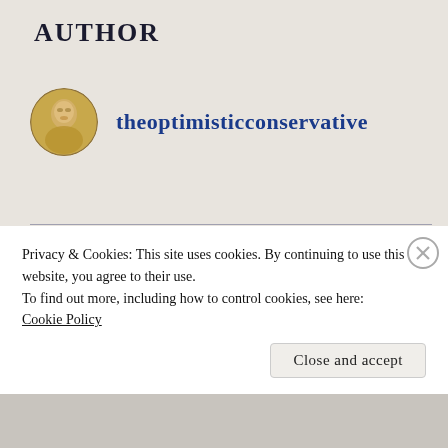AUTHOR
theoptimisticconservative
Home
LI Archive
Privacy & Cookies: This site uses cookies. By continuing to use this website, you agree to their use.
To find out more, including how to control cookies, see here: Cookie Policy
Close and accept